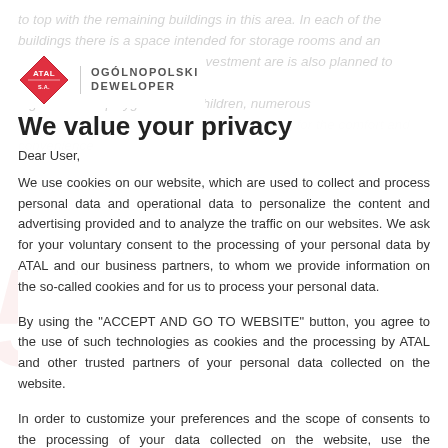to top with the remaining buildings in this area. In each of the buildings there is a space intended for storage rooms and an underground parking lot. The investment are is also planned to include a ground-floor playground for children, numerous bicycle stands and bicycle rooms – everything for the comfort and convenience
[Figure (logo): ATAL diamond logo in red with white text ATAL, next to text OGÓLNOPOLSKI DEWELOPER]
We value your privacy
The investment by ATAL S.A. will be located at the intersection of Asfaltowej and Bielzowa Streets in Wrocław Krzyki district. This most d...
Dear User,
We use cookies on our website, which are used to collect and process personal data and operational data to personalize the content and advertising provided and to analyze the traffic on our websites. We ask for your voluntary consent to the processing of your personal data by ATAL and our business partners, to whom we provide information on the so-called cookies and for us to process your personal data.
By using the "ACCEPT AND GO TO WEBSITE" button, you agree to the use of such technologies as cookies and the processing by ATAL and other trusted partners of your personal data collected on the website.
In order to customize your preferences and the scope of consents to the processing of your data collected on the website, use the "ADVANCED SETTINGS" button.